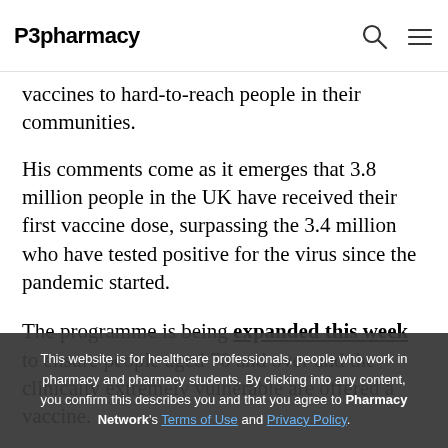P3pharmacy
vaccines to hard-to-reach people in their communities.
His comments come as it emerges that 3.8 million people in the UK have received their first vaccine dose, surpassing the 3.4 million who have tested positive for the virus since the pandemic started.
The programme is being expanded this week to ensure people aged 70 and over and the clinically extremely vulnerable are offered a vaccine.
This website is for healthcare professionals, people who work in pharmacy and pharmacy students. By clicking into any content, you confirm this describes you and that you agree to Pharmacy Network's Terms of Use and Privacy Policy.